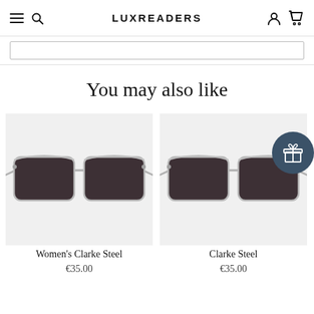LUXREADERS
[Figure (screenshot): Search input bar]
You may also like
[Figure (photo): Women's Clarke Steel sunglasses product image - aviator style with silver frame and dark lenses]
Women's Clarke Steel
€35.00
[Figure (photo): Clarke Steel sunglasses product image - aviator style with silver frame and dark lenses]
Clarke Steel
€35.00